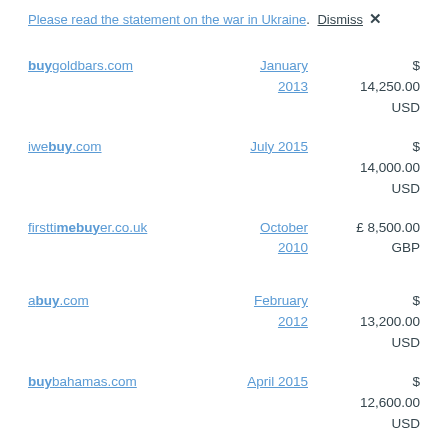Please read the statement on the war in Ukraine. Dismiss ✕
buygoldbars.com | January 2013 | $ 14,250.00 USD
iwebuy.com | July 2015 | $ 14,000.00 USD
firsttimebuyer.co.uk | October 2010 | £ 8,500.00 GBP
abuy.com | February 2012 | $ 13,200.00 USD
buybahamas.com | April 2015 | $ 12,600.00 USD